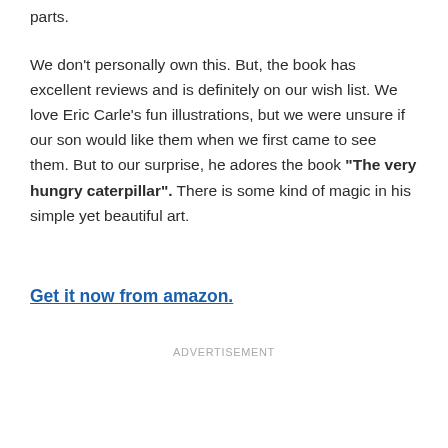parts.
We don't personally own this. But, the book has excellent reviews and is definitely on our wish list. We love Eric Carle's fun illustrations, but we were unsure if our son would like them when we first came to see them. But to our surprise, he adores the book “The very hungry caterpillar”. There is some kind of magic in his simple yet beautiful art.
Get it now from amazon.
ADVERTISEMENT